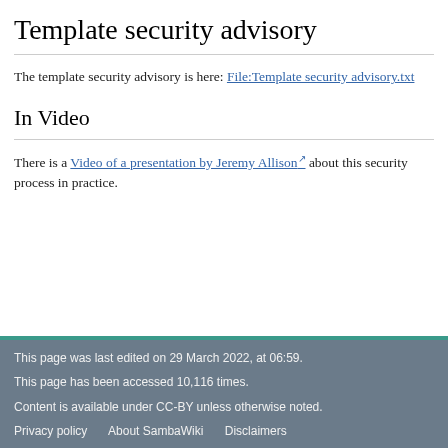Template security advisory
The template security advisory is here: File:Template security advisory.txt
In Video
There is a Video of a presentation by Jeremy Allison about this security process in practice.
This page was last edited on 29 March 2022, at 06:59.
This page has been accessed 10,116 times.
Content is available under CC-BY unless otherwise noted.
Privacy policy   About SambaWiki   Disclaimers